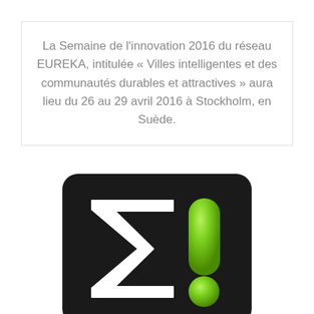La Semaine de l'innovation 2016 du réseau EUREKA, intitulée « Villes intelligentes et des communautés durables et attractives » aura lieu du 26 au 29 avril 2016 à Stockholm, en Suède.
[Figure (logo): EUREKA network logo: dark rounded-rectangle background with a white sigma (Σ) symbol on the left and a green exclamation mark (!) on the right]